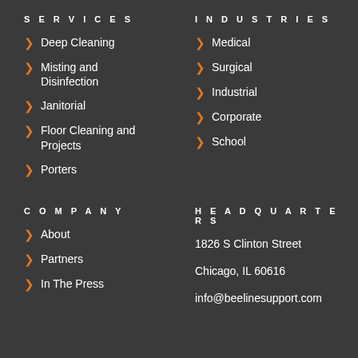SERVICES
Deep Cleaning
Misting and Disinfection
Janitorial
Floor Cleaning and Projects
Porters
INDUSTRIES
Medical
Surgical
Industrial
Corporate
School
COMPANY
About
Partners
In The Press
HEADQUARTERS
1826 S Clinton Street
Chicago, IL 60616
info@beelinesupport.com